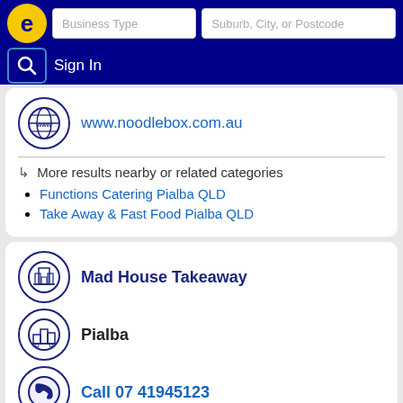Business Type | Suburb, City, or Postcode | Sign In
www.noodlebox.com.au
↳ More results nearby or related categories
Functions Catering Pialba QLD
Take Away & Fast Food Pialba QLD
Mad House Takeaway
Pialba
Call 07 41945123